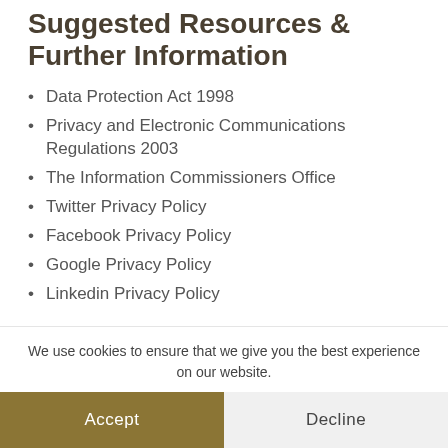Suggested Resources & Further Information
Data Protection Act 1998
Privacy and Electronic Communications Regulations 2003
The Information Commissioners Office
Twitter Privacy Policy
Facebook Privacy Policy
Google Privacy Policy
Linkedin Privacy Policy
We use cookies to ensure that we give you the best experience on our website.
Accept
Decline